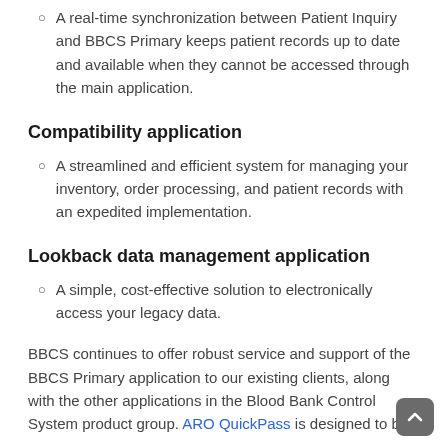A real-time synchronization between Patient Inquiry and BBCS Primary keeps patient records up to date and available when they cannot be accessed through the main application.
Compatibility application
A streamlined and efficient system for managing your inventory, order processing, and patient records with an expedited implementation.
Lookback data management application
A simple, cost-effective solution to electronically access your legacy data.
BBCS continues to offer robust service and support of the BBCS Primary application to our existing clients, along with the other applications in the Blood Bank Control System product group. ARO QuickPass is designed to be